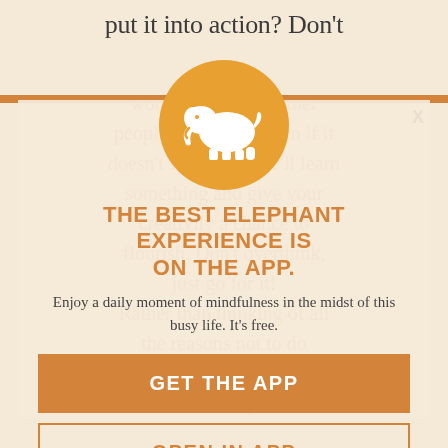put it into action? Don't
worry about what other people will think. Even if it doesn't work out, you'll learn something and give your creativity a chance to flourish. Don't overthink, just go for it! Rather than thinking of all the reasons not to do something, just apply some creativity!
X
[Figure (logo): Orange circle with white elephant silhouette icon]
THE BEST ELEPHANT EXPERIENCE IS ON THE APP.
Enjoy a daily moment of mindfulness in the midst of this busy life. It's free.
GET THE APP
OPEN IN APP